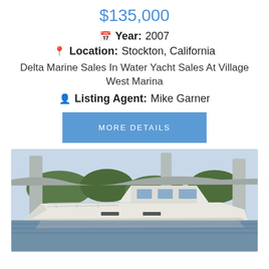$135,000
Year: 2007
Location: Stockton, California
Delta Marine Sales In Water Yacht Sales At Village West Marina
Listing Agent: Mike Garner
MORE DETAILS
[Figure (photo): White motorboat/yacht docked at marina with concrete pillars and trees in background, viewed from the front-left angle on water]